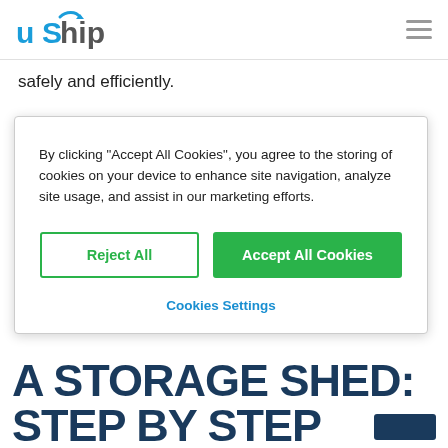uShip
safely and efficiently.
For those DIY enthusiasts, you will find step by step instructions to move your storage shed. Keep in mind that
By clicking "Accept All Cookies", you agree to the storing of cookies on your device to enhance site navigation, analyze site usage, and assist in our marketing efforts.
Reject All
Accept All Cookies
Cookies Settings
A STORAGE SHED: STEP BY STEP